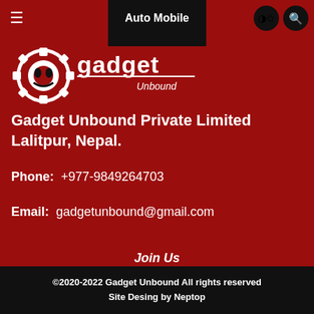Auto Mobile
[Figure (logo): Gadget Unbound logo with gear and text]
Gadget Unbound Private Limited
Lalitpur, Nepal.
Phone: +977-9849264703
Email: gadgetunbound@gmail.com
Join Us
[Figure (infographic): Social media icon buttons: TikTok, Instagram, YouTube, Twitter, Facebook]
©2020-2022 Gadget Unbound All rights reserved
Site Desing by Neptop